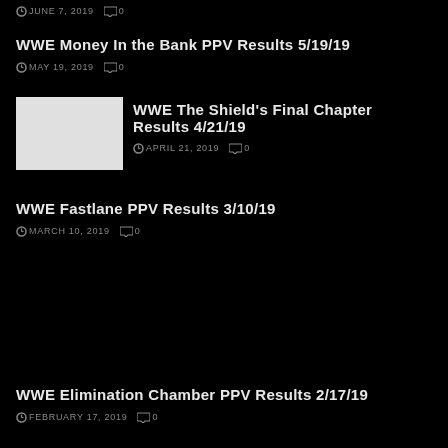JUNE 7, 2019  0
WWE Money In the Bank PPV Results 5/19/19
MAY 19, 2019  0
WWE The Shield's Final Chapter Results 4/21/19
APRIL 21, 2019  0
WWE Fastlane PPV Results 3/10/19
MARCH 10, 2019  0
WWE Elimination Chamber PPV Results 2/17/19
FEBRUARY 17, 2019  0